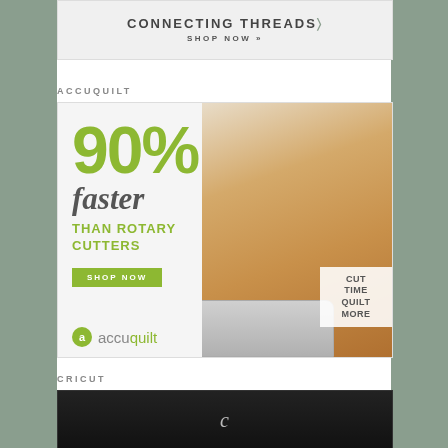[Figure (advertisement): Connecting Threads banner ad with 'SHOP NOW »' call to action]
ACCUQUILT
[Figure (advertisement): AccuQuilt ad: '90% faster than rotary cutters — SHOP NOW' with woman using quilting machine and accuquilt logo. Bottom right corner reads 'CUT TIME QUILT MORE']
CRICUT
[Figure (advertisement): Cricut ad partial view with dark background]